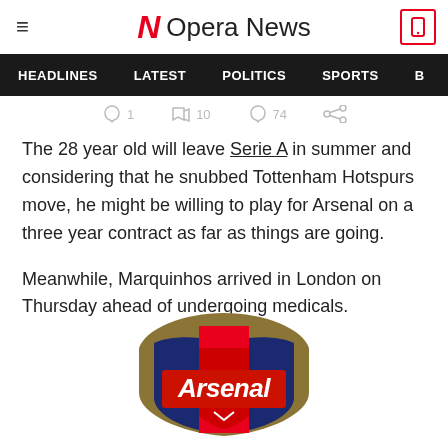Opera News
HEADLINES  LATEST  POLITICS  SPORTS
The 28 year old will leave Serie A in summer and considering that he snubbed Tottenham Hotspurs move, he might be willing to play for Arsenal on a three year contract as far as things are going.
Meanwhile, Marquinhos arrived in London on Thursday ahead of undergoing medicals.
[Figure (logo): Arsenal FC logo — red and gold shield shape with 'Arsenal' text in white on red background]